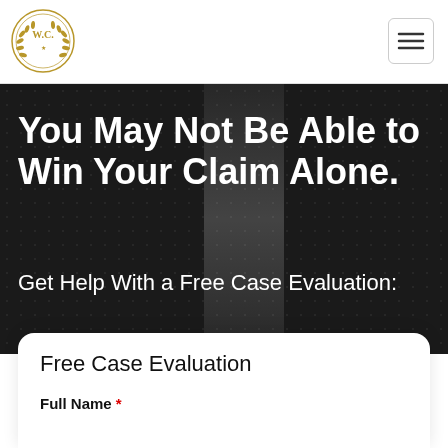[Figure (logo): W.C. circular gold laurel wreath logo]
[Figure (other): Hamburger menu icon with three horizontal lines inside a rounded rectangle border]
You May Not Be Able to Win Your Claim Alone.
Get Help With a Free Case Evaluation:
Free Case Evaluation
Full Name *